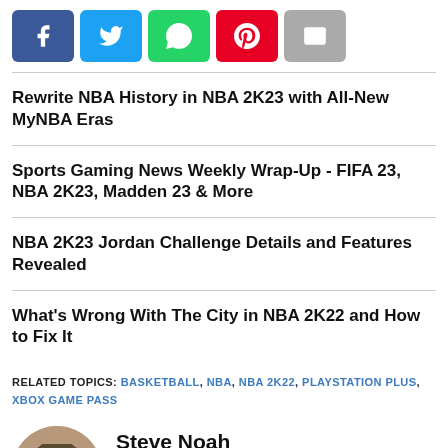[Figure (other): Social share buttons: Facebook, Twitter, WhatsApp, Pinterest, Email]
Rewrite NBA History in NBA 2K23 with All-New MyNBA Eras
Sports Gaming News Weekly Wrap-Up - FIFA 23, NBA 2K23, Madden 23 & More
NBA 2K23 Jordan Challenge Details and Features Revealed
What's Wrong With The City in NBA 2K22 and How to Fix It
RELATED TOPICS: BASKETBALL, NBA, NBA 2K22, PLAYSTATION PLUS, XBOX GAME PASS
Steve Noah